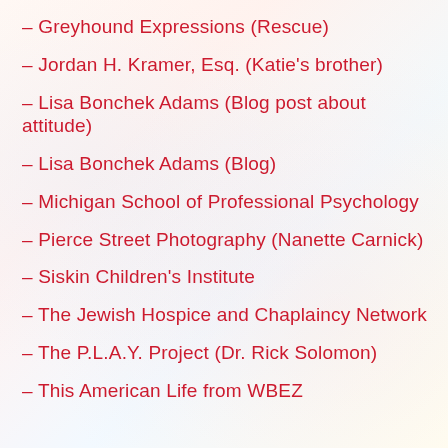– Greyhound Expressions (Rescue)
– Jordan H. Kramer, Esq. (Katie's brother)
– Lisa Bonchek Adams (Blog post about attitude)
– Lisa Bonchek Adams (Blog)
– Michigan School of Professional Psychology
– Pierce Street Photography (Nanette Carnick)
– Siskin Children's Institute
– The Jewish Hospice and Chaplaincy Network
– The P.L.A.Y. Project (Dr. Rick Solomon)
– This American Life from WBEZ